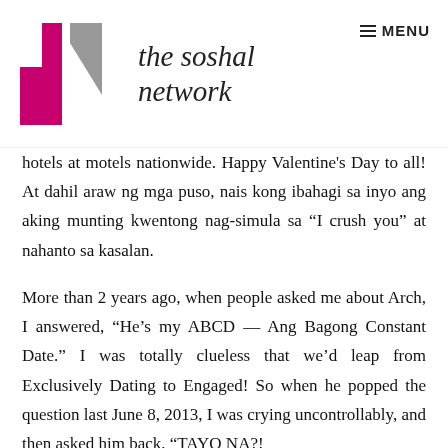the soshal network — MENU
hotels at motels nationwide. Happy Valentine's Day to all! At dahil araw ng mga puso, nais kong ibahagi sa inyo ang aking munting kwentong nag-simula sa “I crush you” at nahanto sa kasalan.
More than 2 years ago, when people asked me about Arch, I answered, “He’s my ABCD — Ang Bagong Constant Date.” I was totally clueless that we’d leap from Exclusively Dating to Engaged! So when he popped the question last June 8, 2013, I was crying uncontrollably, and then asked him back, “TAYO NA?!”